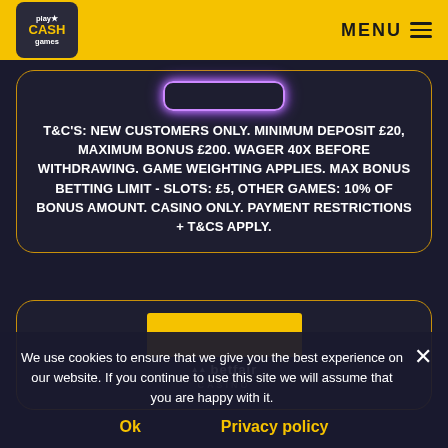Play Cash Games - MENU
T&C's: NEW CUSTOMERS ONLY. MINIMUM DEPOSIT £20, MAXIMUM BONUS £200. WAGER 40X BEFORE WITHDRAWING. GAME WEIGHTING APPLIES. MAX BONUS BETTING LIMIT - SLOTS: £5, OTHER GAMES: 10% OF BONUS AMOUNT. CASINO ONLY. PAYMENT RESTRICTIONS + T&CS APPLY.
[Figure (logo): Betfair Casino logo with yellow rectangle and brand text]
We use cookies to ensure that we give you the best experience on our website. If you continue to use this site we will assume that you are happy with it.
Ok    Privacy policy